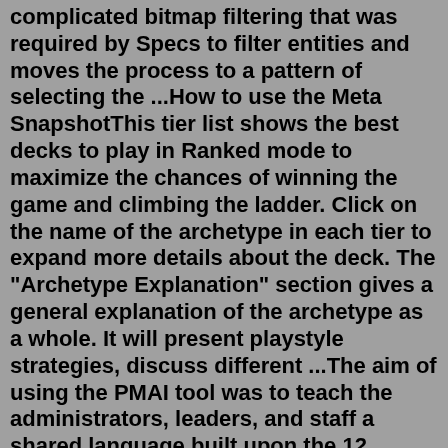complicated bitmap filtering that was required by Specs to filter entities and moves the process to a pattern of selecting the ...How to use the Meta SnapshotThis tier list shows the best decks to play in Ranked mode to maximize the chances of winning the game and climbing the ladder. Click on the name of the archetype in each tier to expand more details about the deck. The "Archetype Explanation" section gives a general explanation of the archetype as a whole. It will present playstyle strategies, discuss different ...The aim of using the PMAI tool was to teach the administrators, leaders, and staff a shared language built upon the 12 archetypes of the PMAI theory. The group learned to recognize the voice of those driving for excellence (Warrior). Soon the voice of those demanding structure, policy, and process would ring with understanding in their minds ...Jan 17, 2021 · What is an archetype? An archetype is a consistent and typical version of a particular thing. It can be a human, an object, or a particular set of behaviors that can be identified in a...